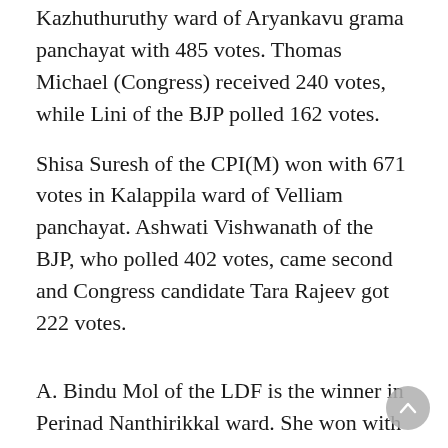Kazhuthuruthy ward of Aryankavu grama panchayat with 485 votes. Thomas Michael (Congress) received 240 votes, while Lini of the BJP polled 162 votes.
Shisa Suresh of the CPI(M) won with 671 votes in Kalappila ward of Velliam panchayat. Ashwati Vishwanath of the BJP, who polled 402 votes, came second and Congress candidate Tara Rajeev got 222 votes.
A. Bindu Mol of the LDF is the winner in Perinad Nanthirikkal ward. She won with 703 votes, while Congress candidate Suja Athanasius and BJP's Sheeja Joy received 338 and 44 votes respectively.
Congress candidate Nizam won the Mulayarachal ward in Velinalloor grama panchayat with 793 votes. Sheeja